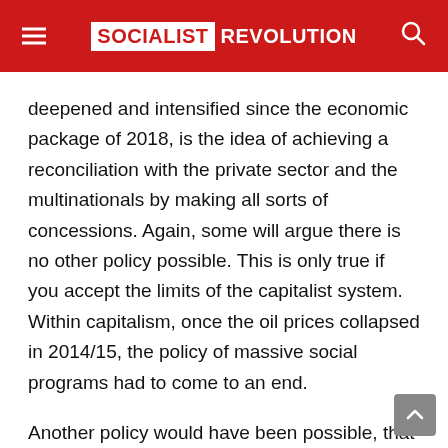SOCIALIST REVOLUTION
deepened and intensified since the economic package of 2018, is the idea of achieving a reconciliation with the private sector and the multinationals by making all sorts of concessions. Again, some will argue there is no other policy possible. This is only true if you accept the limits of the capitalist system. Within capitalism, once the oil prices collapsed in 2014/15, the policy of massive social programs had to come to an end.
Another policy would have been possible, that of following the advice Chavez gave in its last speeches, including Golpe de Timón, where he argued that the way forward was a socialist economy